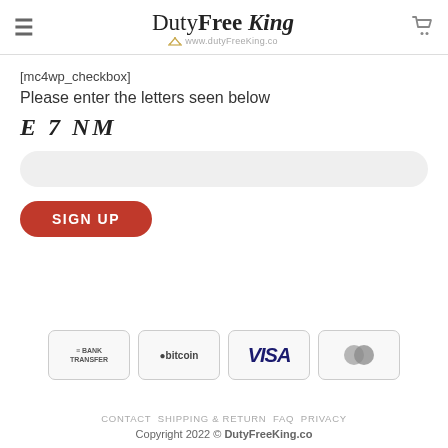DutyFree King www.dutyFreeKing.co
[mc4wp_checkbox]
Please enter the letters seen below
E 7 NM
[Figure (screenshot): CAPTCHA input field — rounded rectangle text input with light gray background]
SIGN UP
[Figure (infographic): Payment method badges: Bank Transfer, Bitcoin, VISA, MasterCard]
CONTACT  SHIPPING & RETURN  FAQ  PRIVACY
Copyright 2022 © DutyFreeKing.co